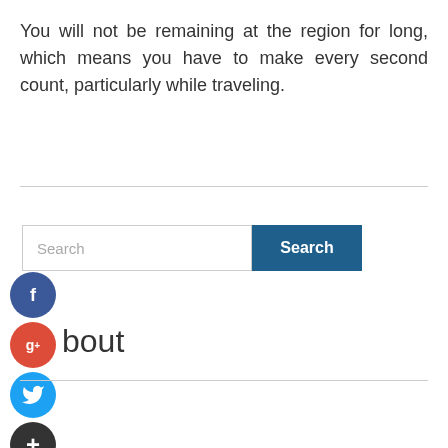You will not be remaining at the region for long, which means you have to make every second count, particularly while traveling.
[Figure (screenshot): Search bar with text input field and blue Search button]
[Figure (infographic): Social media share icons: Facebook (blue circle with f), Google+ (red circle with g+), Twitter (blue circle with bird), Add (dark circle with +), and partially visible 'bout' text label]